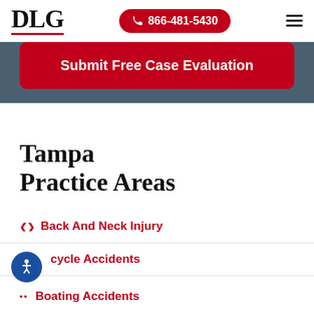DLG | 866-481-5430
[Figure (screenshot): Red 'Submit Free Case Evaluation' button on slate-gray background]
Tampa Practice Areas
Back And Neck Injury
Bicycle Accidents
Boating Accidents